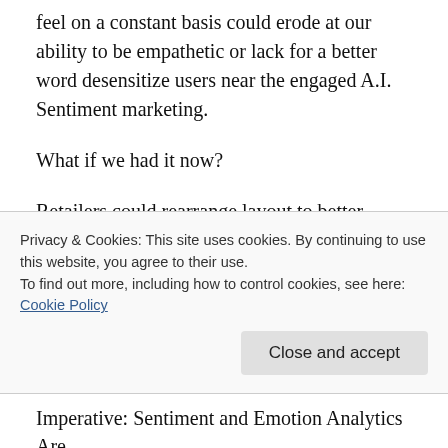feel on a constant basis could erode at our ability to be empathetic or lack for a better word desensitize users near the engaged A.I. Sentiment marketing.
What if we had it now?
Retailers could rearrange layout to better identify “impulse purchases”
Retailers could prepare personalized experiences to customers before arrival.
Feedback systems would be more accurate, and
Privacy & Cookies: This site uses cookies. By continuing to use this website, you agree to their use.
To find out more, including how to control cookies, see here:
Cookie Policy
Close and accept
Imperative: Sentiment and Emotion Analytics Are